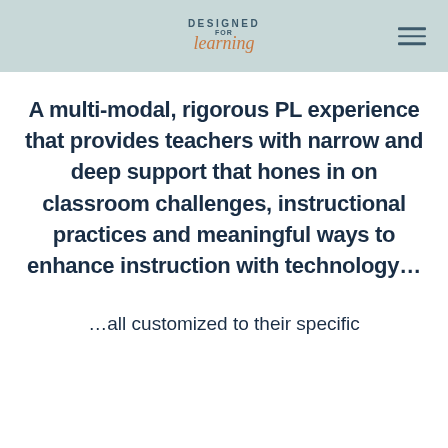DESIGNED FOR learning
A multi-modal, rigorous PL experience that provides teachers with narrow and deep support that hones in on classroom challenges, instructional practices and meaningful ways to enhance instruction with technology...
…all customized to their specific